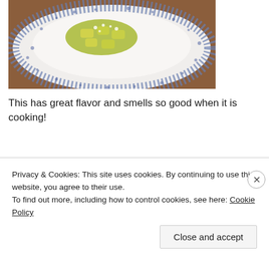[Figure (photo): A white plate with blue sponge-pattern border containing pasta dish (appears to be tortellini or stuffed pasta) with green sauce and crumbled topping, served on a wooden surface.]
This has great flavor and smells so good when it is cooking!
Slow Cooker Chicken Stroganoff
Makes 4 serv...
Privacy & Cookies: This site uses cookies. By continuing to use this website, you agree to their use.
To find out more, including how to control cookies, see here: Cookie Policy
Close and accept